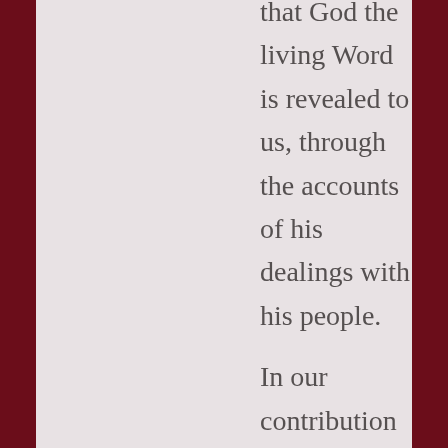that God the living Word is revealed to us, through the accounts of his dealings with his people. In our contribution we consider two scientific disciplines in which stories play a prominent role. We suggest that our understanding of scientific knowledge is enriched by the